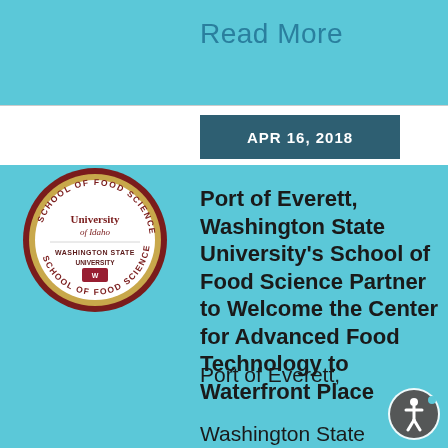Read More
APR 16, 2018
[Figure (logo): School of Food Science logo badge — University of Idaho and Washington State University joint seal]
Port of Everett, Washington State University's School of Food Science Partner to Welcome the Center for Advanced Food Technology to Waterfront Place
Port of Everett,
Washington State